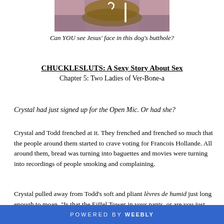[Figure (photo): Cropped photo showing a dog, partially visible, with purple/brown tones in background]
Can YOU see Jesus' face in this dog’s butthole?
CHUCKLESLUTS: A Sexy Story About Sex
Chapter 5: Two Ladies of Ver-Bone-a
Crystal had just signed up for the Open Mic. Or had she?
Crystal and Todd frenched at it. They frenched and frenched so much that the people around them started to crave voting for Francois Hollande. All around them, bread was turning into baguettes and movies were turning into recordings of people smoking and complaining.
Crystal pulled away from Todd’s soft and pliant lèvres de humid just long enough to moan, "Is that the Eiffel Tower in your pants, or are you just experiencing penis ossification?" Todd laughed, and also, cried.
POWERED BY weebly